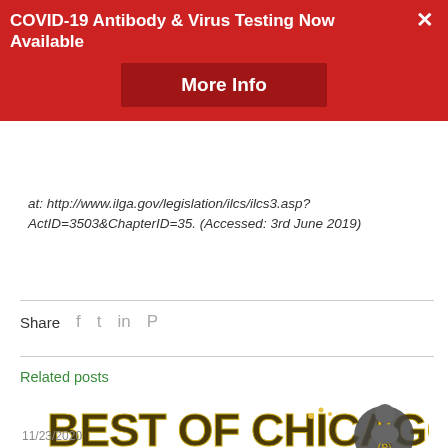COVID-19 Antibody & Virus Testing Now Available
More Info
at: http://www.ilga.gov/legislation/ilcs/ilcs3.asp?ActID=3503&ChapterID=35. (Accessed: 3rd June 2019)
Share
Related posts
[Figure (logo): Best of Chicago 2020 logo with gold bold text and badge]
11/23/2020